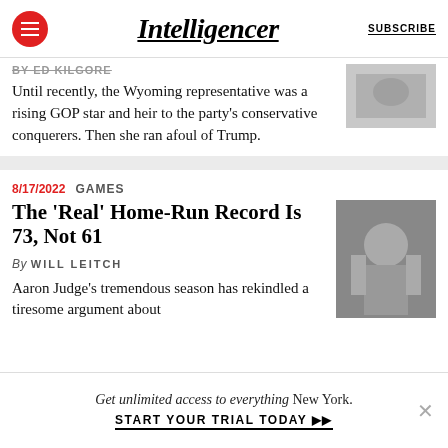Intelligencer | SUBSCRIBE
By ED KILGORE
Until recently, the Wyoming representative was a rising GOP star and heir to the party's conservative conquerers. Then she ran afoul of Trump.
8/17/2022  GAMES
The 'Real' Home-Run Record Is 73, Not 61
By WILL LEITCH
Aaron Judge's tremendous season has rekindled a tiresome argument about
Get unlimited access to everything New York. START YOUR TRIAL TODAY ▶▶